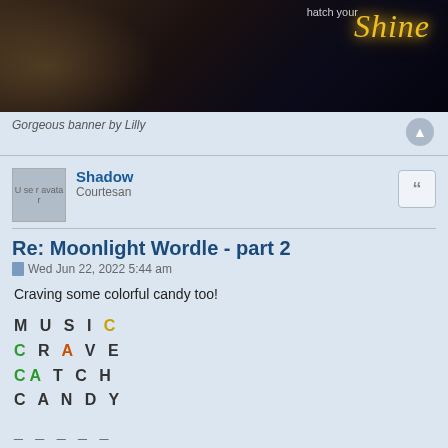[Figure (photo): Dark banner image with glowing yellow italic 'Shine' text on the right and partial figure on the left]
Gorgeous banner by Lilly
Shadow
Courtesan
Re: Moonlight Wordle - part 2
Wed Jun 22, 2022 5:44 am
Craving some colorful candy too!
MUSIC
CRAVE
CATCH
CANDY
_____
_____
A B C D E F G H I J K L M N
O P Q R S T U V W X Y Z